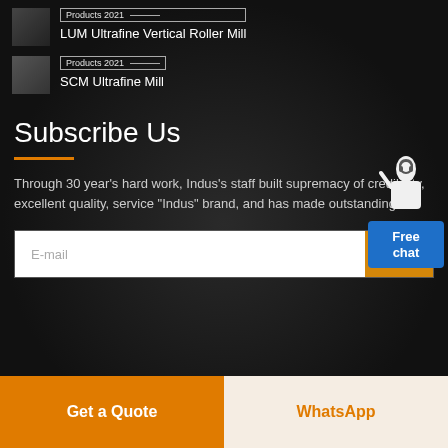Products 2021 — LUM Ultrafine Vertical Roller Mill
Products 2021 — SCM Ultrafine Mill
Subscribe Us
Through 30 year's hard work, Indus's staff built supremacy of credibility, excellent quality, service "Indus" brand, and has made outstanding ...
E-mail
GO
[Figure (illustration): Free chat widget with customer service figure and blue button labeled 'Free chat']
Get a Quote
WhatsApp